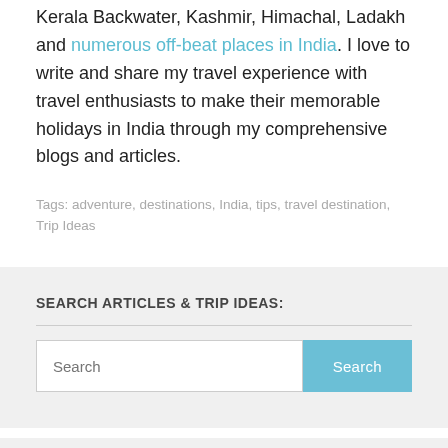Kerala Backwater, Kashmir, Himachal, Ladakh and numerous off-beat places in India. I love to write and share my travel experience with travel enthusiasts to make their memorable holidays in India through my comprehensive blogs and articles.
Tags: adventure, destinations, India, tips, travel destination, Trip Ideas
SEARCH ARTICLES & TRIP IDEAS:
Search
POPULAR IDEAS